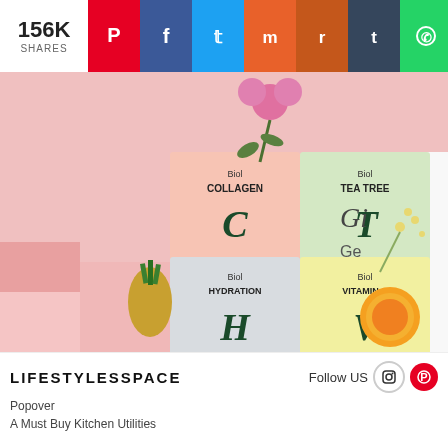156K SHARES
[Figure (photo): Product photo of four skincare/wellness sheet mask boxes: Collagen (C), Tea Tree (T), Hydration (H), Vitamin C (V) arranged in a 2x2 grid on a pink background with a pineapple, orange slice, pink ranunculus flower, and white floral stems]
Gi...  Ge...
LIFESTYLESSPACE
Follow US
Popover
A Must Buy Kitchen Utilities